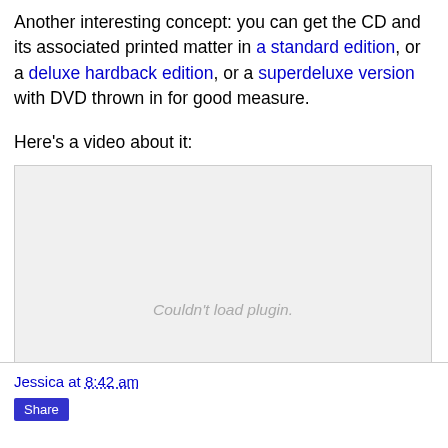Another interesting concept: you can get the CD and its associated printed matter in a standard edition, or a deluxe hardback edition, or a superdeluxe version with DVD thrown in for good measure.
Here's a video about it:
[Figure (other): Embedded video plugin area showing 'Couldn't load plugin.' message in gray italic text]
Jessica at 8:42 am